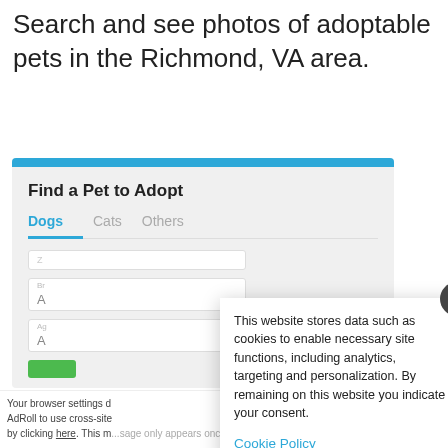Search and see photos of adoptable pets in the Richmond, VA area.
[Figure (screenshot): A web widget titled 'Find a Pet to Adopt' with tabs for Dogs, Cats, Others. Dogs tab is selected (blue underline). Below are dropdown fields and a green button, partially visible. A cookie consent popup overlays the widget with a close (X) button. The popup reads: 'This website stores data such as cookies to enable necessary site functions, including analytics, targeting and personalization. By remaining on this website you indicate your consent.' A 'Cookie Policy' link is shown in blue.]
This website stores data such as cookies to enable necessary site functions, including analytics, targeting and personalization. By remaining on this website you indicate your consent.
Cookie Policy
Your browser settings d... AdRoll to use cross-site... by clicking here. This m...sage only appears once.